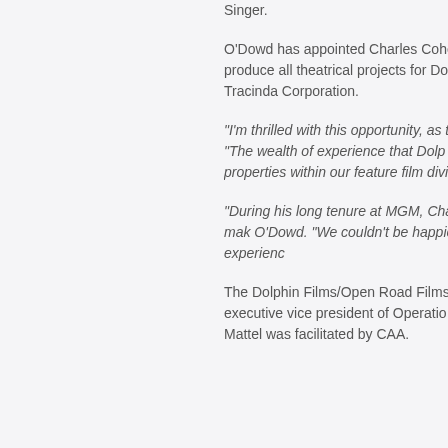Singer.
O'Dowd has appointed Charles Cohe President of the newly-formed Dolp produce all theatrical projects for Do MGM Studios, who most recently he Tracinda Corporation.
"I'm thrilled with this opportunity, as t independently produced films aimed "The wealth of experience that Dolp licensing and merchandising worlds properties within our feature film divi
"During his long tenure at MGM, Cha across multiple platforms, which mak O'Dowd. "We couldn't be happier tha addition to a stellar cast of experienc
The Dolphin Films/Open Road Films and Myers for Dolphin and Tom Orte executive vice president of Operatio president of Acquisitions on behalf o Mattel was facilitated by CAA.